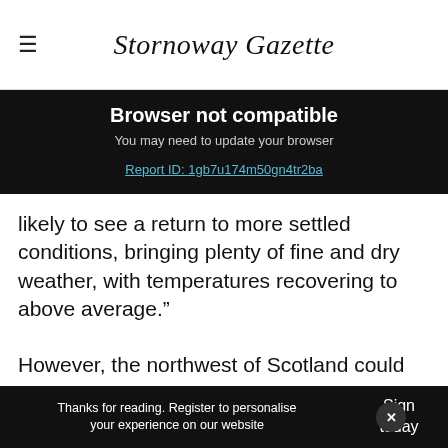Stornoway Gazette
Browser not compatible
You may need to update your browser
Report ID: 1gb7u174m50gn4tr2ba
likely to see a return to more settled conditions, bringing plenty of fine and dry weather, with temperatures recovering to above average."
However, the northwest of Scotland could still see some more unsettled conditions at times.
Thanks for reading. Register to personalise your experience on our website | Sign today